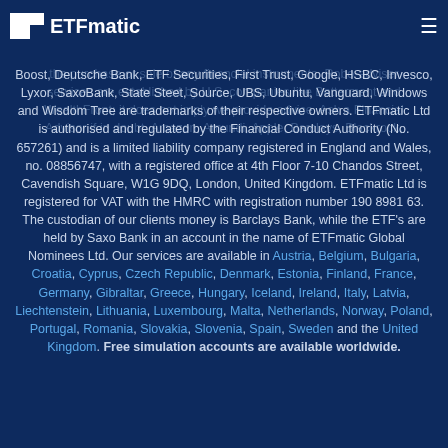ETFmatic
the purchase or sale of any financial instruments. Robo-adviser services are established by U.S. companies like Betterment and WealthFront; it does not imply we provide advice. Ask a Financial Advisor if in doubt. Amazon, Amundi, Apple, Barclays, Blackrock, Boost, Deutsche Bank, ETF Securities, First Trust, Google, HSBC, Invesco, Lyxor, SaxoBank, State Steet, Source, UBS, Ubuntu, Vanguard, Windows and Wisdom Tree are trademarks of their respective owners. ETFmatic Ltd is authorised and regulated by the Financial Conduct Authority (No. 657261) and is a limited liability company registered in England and Wales, no. 08856747, with a registered office at 4th Floor 7-10 Chandos Street, Cavendish Square, W1G 9DQ, London, United Kingdom. ETFmatic Ltd is registered for VAT with the HMRC with registration number 190 8981 63. The custodian of our clients money is Barclays Bank, while the ETF's are held by Saxo Bank in an account in the name of ETFmatic Global Nominees Ltd. Our services are available in Austria, Belgium, Bulgaria, Croatia, Cyprus, Czech Republic, Denmark, Estonia, Finland, France, Germany, Gibraltar, Greece, Hungary, Iceland, Ireland, Italy, Latvia, Liechtenstein, Lithuania, Luxembourg, Malta, Netherlands, Norway, Poland, Portugal, Romania, Slovakia, Slovenia, Spain, Sweden and the United Kingdom. Free simulation accounts are available worldwide.